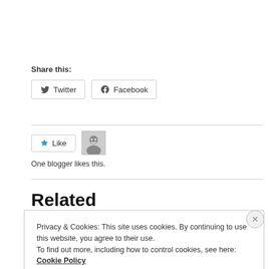Share this:
[Figure (other): Twitter share button with bird icon]
[Figure (other): Facebook share button with f icon]
[Figure (other): Like button with blue star icon and blogger avatar]
One blogger likes this.
Related
Privacy & Cookies: This site uses cookies. By continuing to use this website, you agree to their use.
To find out more, including how to control cookies, see here: Cookie Policy
Close and accept